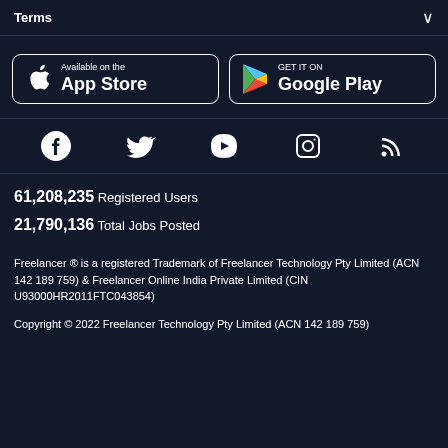Terms
[Figure (screenshot): App Store and Google Play download buttons]
[Figure (screenshot): Social media icons: Facebook, Twitter, YouTube, Instagram, RSS]
61,208,235  Registered Users
21,790,136  Total Jobs Posted
Freelancer ® is a registered Trademark of Freelancer Technology Pty Limited (ACN 142 189 759) & Freelancer Online India Private Limited (CIN U93000HR2011FTC043854)
Copyright © 2022 Freelancer Technology Pty Limited (ACN 142 189 759)